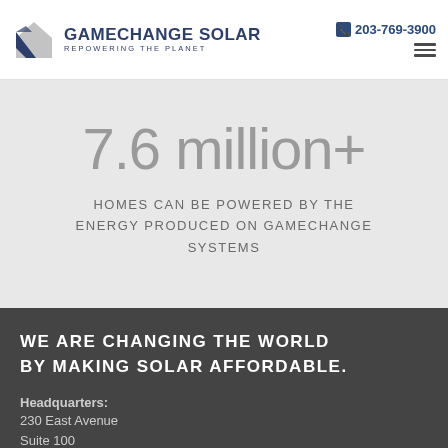GameChange Solar — Repowering the Planet | 203-769-3900
7.6 million+
HOMES CAN BE POWERED BY THE ENERGY PRODUCED ON GAMECHANGE SYSTEMS
WE ARE CHANGING THE WORLD BY MAKING SOLAR AFFORDABLE.
Headquarters:
230 East Avenue
Suite 100